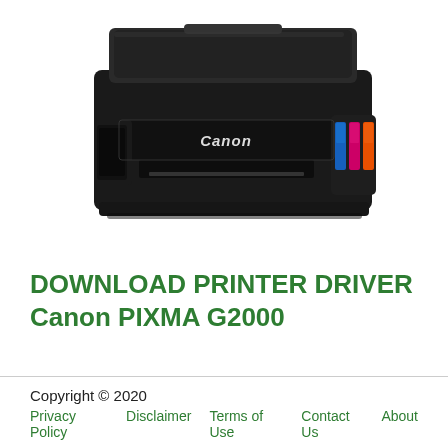[Figure (photo): Canon PIXMA G2000 inkjet printer, black, front view, with visible ink tanks on the right side (blue, magenta, orange). The Canon logo is visible on the front panel.]
DOWNLOAD PRINTER DRIVER Canon PIXMA G2000
Copyright © 2020
Privacy Policy    Disclaimer    Terms of Use    Contact Us    About